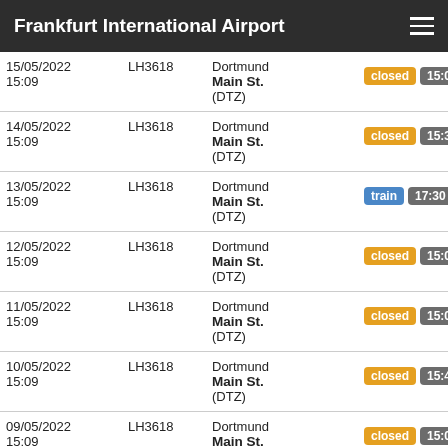Frankfurt International Airport
| Date | Flight | Destination | Status |
| --- | --- | --- | --- |
| 15/05/2022 15:09 | LH3618 | Dortmund Main St. (DTZ) | closed 15:09 |
| 14/05/2022 15:09 | LH3618 | Dortmund Main St. (DTZ) | closed 15:39 |
| 13/05/2022 15:09 | LH3618 | Dortmund Main St. (DTZ) | train 17:30 |
| 12/05/2022 15:09 | LH3618 | Dortmund Main St. (DTZ) | closed 15:09 |
| 11/05/2022 15:09 | LH3618 | Dortmund Main St. (DTZ) | closed 15:09 |
| 10/05/2022 15:09 | LH3618 | Dortmund Main St. (DTZ) | closed 15:41 |
| 09/05/2022 15:09 | LH3618 | Dortmund Main St. (DTZ) | closed 15:09 |